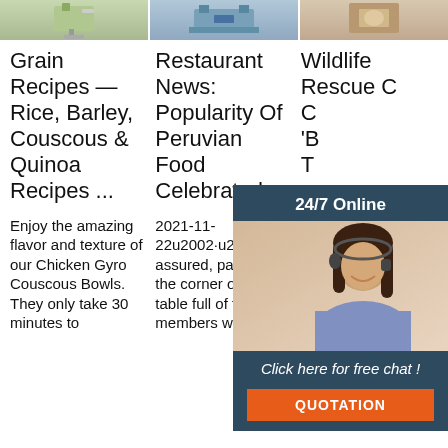[Figure (photo): Three images at top: food/grain dish, industrial machine, kitchen/cooking scene]
Grain Recipes — Rice, Barley, Couscous & Quinoa Recipes ...
Restaurant News: Popularity Of Peruvian Food Celebrated ...
Wildlife Rescue C... C... 'B... T...
Enjoy the amazing flavor and texture of our Chicken Gyro Couscous Bowls. They only take 30 minutes to
2021-11-22u2002·u2002Rest assured, parked on the corner of each table full of family members was
rescue that specializes in caring for bears chose Thanksgiving
[Figure (photo): 24/7 Online chat widget with woman wearing headset, Click here for free chat, QUOTATION button]